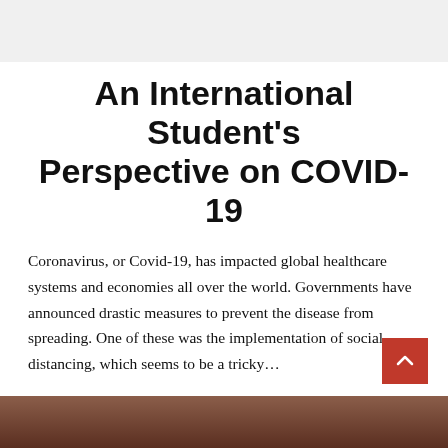An International Student's Perspective on COVID-19
Coronavirus, or Covid-19, has impacted global healthcare systems and economies all over the world. Governments have announced drastic measures to prevent the disease from spreading. One of these was the implementation of social distancing, which seems to be a tricky…
READ MORE
[Figure (photo): Bottom portion of page showing a person's face/photo, partially visible]